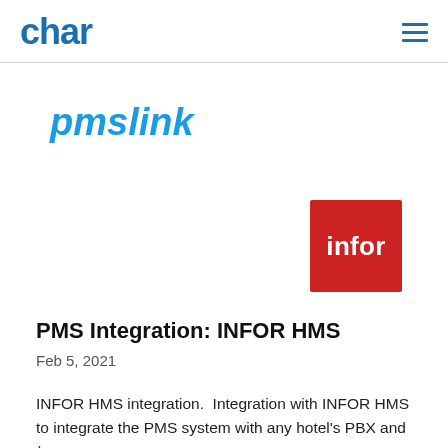char
[Figure (logo): pmslink logo in bold italic blue text]
[Figure (logo): Infor logo: white text 'infor' on red square background]
PMS Integration: INFOR HMS
Feb 5, 2021
INFOR HMS integration.  Integration with INFOR HMS to integrate the PMS system with any hotel's PBX and /